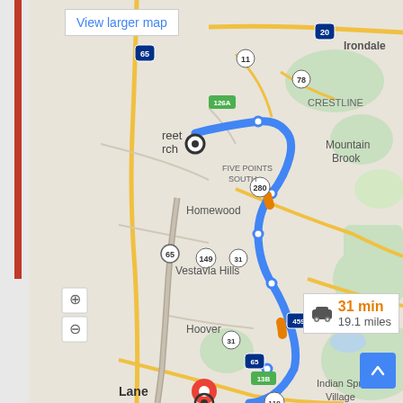[Figure (map): Google Maps screenshot showing a driving route from a location in Birmingham, AL (Five Points South area, marked with circle) to Lane (marked with red pin and circle at bottom), passing through Homewood, Vestavia Hills, and Hoover. The blue route line runs along highways including US-280, I-459, and I-65. Distance is 19.1 miles, estimated 31 minutes driving time. Map labels include: Irondale, Crestline, Mountain Brook, Five Points South, Homewood, Vestavia Hills, Hoover, Meadowbrook, Indian Springs Village, and various highway shields: 65, 20, 11, 78, 126A, 280, 149, 31, 459, 65, 13B, 119.]
View larger map
31 min
19.1 miles